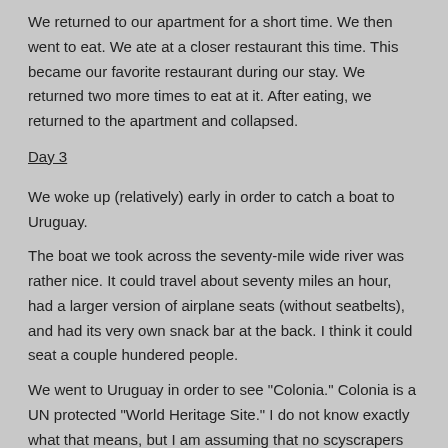We returned to our apartment for a short time. We then went to eat. We ate at a closer restaurant this time. This became our favorite restaurant during our stay. We returned two more times to eat at it. After eating, we returned to the apartment and collapsed.
Day 3
We woke up (relatively) early in order to catch a boat to Uruguay.
The boat we took across the seventy-mile wide river was rather nice. It could travel about seventy miles an hour, had a larger version of airplane seats (without seatbelts), and had its very own snack bar at the back. I think it could seat a couple hundered people.
We went to Uruguay in order to see "Colonia." Colonia is a UN protected "World Heritage Site." I do not know exactly what that means, but I am assuming that no scyscrapers will be built there any time soon. Most of the city looked quaint, for lack of a better word.
We took a taxi to the "old wall" of the city to pass through the old gate